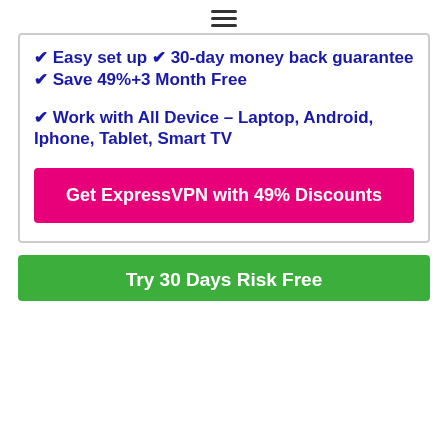≡
✔ Easy set up ✔ 30-day money back guarantee ✔ Save 49%+3 Month Free
✔ Work with All Device – Laptop, Android, Iphone, Tablet, Smart TV
Get ExpressVPN with 49% Discounts
Try 30 Days Risk Free